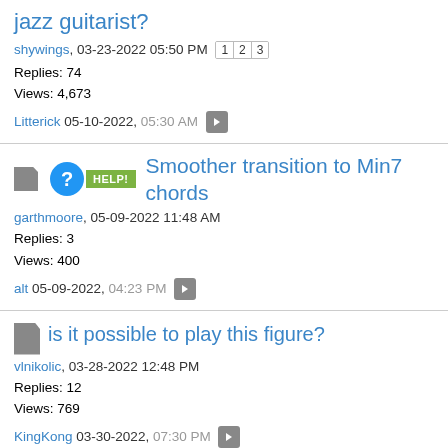jazz guitarist?
shywings, 03-23-2022 05:50 PM  [1][2][3]
Replies: 74
Views: 4,673
Litterick 05-10-2022, 05:30 AM
Smoother transition to Min7 chords
garthmoore, 05-09-2022 11:48 AM
Replies: 3
Views: 400
alt 05-09-2022, 04:23 PM
is it possible to play this figure?
vlnikolic, 03-28-2022 12:48 PM
Replies: 12
Views: 769
KingKong 03-30-2022, 07:30 PM